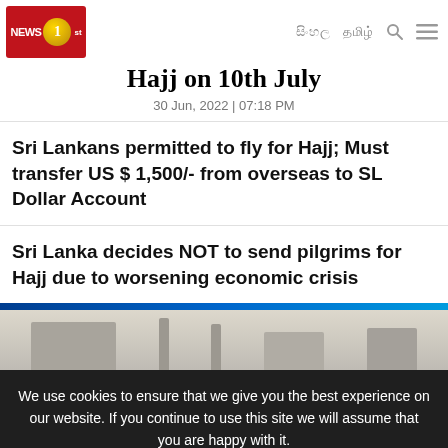NEWS 1st | සිංහල | தமிழ் (search) (menu)
Hajj on 10th July
30 Jun, 2022 | 07:18 PM
Sri Lankans permitted to fly for Hajj; Must transfer US $ 1,500/- from overseas to SL Dollar Account
Sri Lanka decides NOT to send pilgrims for Hajj due to worsening economic crisis
[Figure (photo): Image of mosque/building silhouettes, partially visible]
We use cookies to ensure that we give you the best experience on our website. If you continue to use this site we will assume that you are happy with it.
Ok